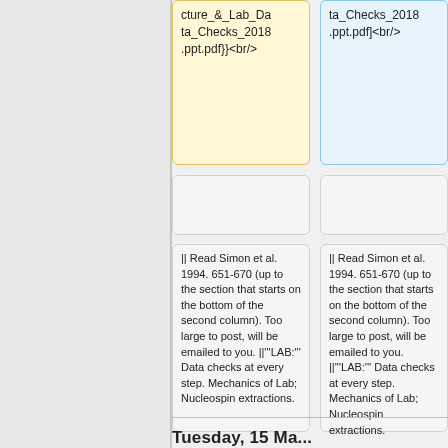cture_&_Lab_Data_Checks_2018.ppt.pdf}}><br/>
ta_Checks_2018.ppt.pdf]<br/>
|| Read Simon et al. 1994. 651-670 (up to the section that starts on the bottom of the second column). Too large to post, will be emailed to you. ||'''LAB:''' Data checks at every step. Mechanics of Lab; Nucleospin extractions.
|| Read Simon et al. 1994. 651-670 (up to the section that starts on the bottom of the second column). Too large to post, will be emailed to you. ||'''LAB:''' Data checks at every step. Mechanics of Lab; Nucleospin extractions.